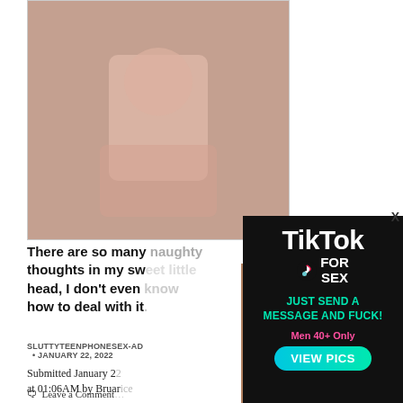[Figure (photo): Person kneeling on floor in pink underwear, top-down angle]
There are so many naughty thoughts in my sweet little head, I don't even know how to deal with it
SLUTTYTEENPHONESEX-AD • JANUARY 22, 2022
Submitted January 22 at 01:06AM by Bruanrice
Leave a Comment
Bruanrice, Nude_S
Bruanrice, Nude_S
[Figure (photo): Woman with dark auburn hair, choker necklace, blue eyes, partial nudity]
[Figure (advertisement): TikTok For Sex advertisement on black background with cyan/pink text and VIEW PICS button]